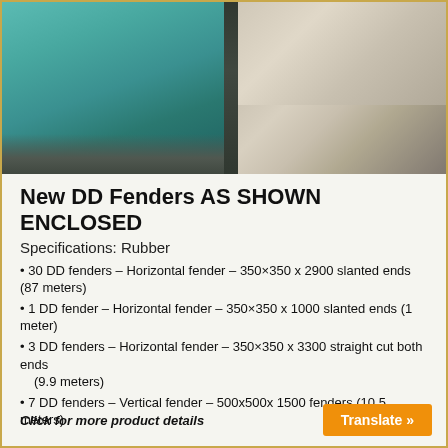[Figure (photo): Photo of DD fenders installed at a dock/wharf, showing rubber fenders against concrete structure with water (teal/blue) on the left and sandy/rocky shoreline on the right]
New DD Fenders AS SHOWN ENCLOSED
Specifications: Rubber
30 DD fenders – Horizontal fender – 350×350 x 2900 slanted ends (87 meters)
1 DD fender – Horizontal fender – 350×350 x 1000 slanted ends (1 meter)
3 DD fenders – Horizontal fender – 350×350 x 3300 straight cut both ends (9.9 meters)
7 DD fenders – Vertical fender – 500x500x 1500 fenders (10.5 meters)
Click for more product details